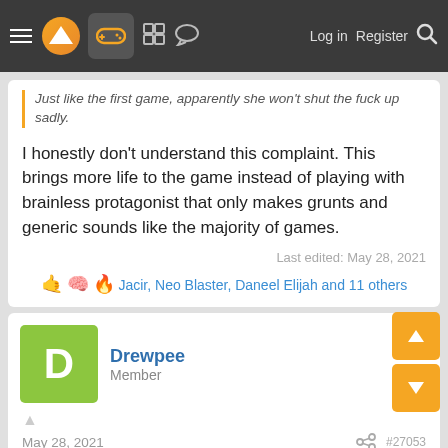Navigation bar with menu, logo, gamepad icon, grid, chat, Log in, Register, Search
Just like the first game, apparently she won't shut the fuck up sadly.
I honestly don't understand this complaint. This brings more life to the game instead of playing with brainless protagonist that only makes grunts and generic sounds like the majority of games.
Last edited: May 28, 2021
Jacir, Neo Blaster, Daneel Elijah and 11 others
Drewpee
Member
May 28, 2021
If you were looking for the graphics to perfectly match the reveal trailer you will be disappointed. If you have a realistic